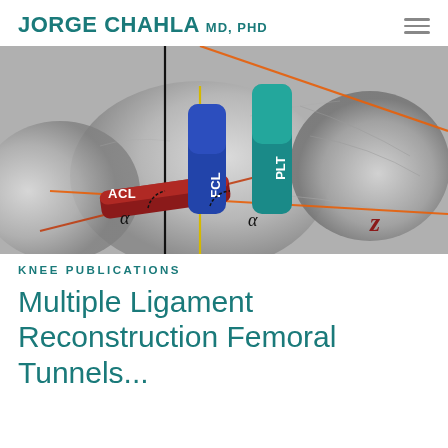JORGE CHAHLA MD, PHD
[Figure (engineering-diagram): 3D rendered anatomical diagram of a knee joint showing ligament attachment sites. Colored 3D cylindrical shapes labeled FCL (blue), PLT (teal/green), and ACL (dark red) are overlaid on a grayscale 3D bone model. Orange diagonal reference lines cross the image. A black vertical line and yellow vertical line are visible. Greek letter alpha (α) angles are marked with dotted arcs at two positions. The letter Z appears in bold dark red at lower right. The diagram illustrates femoral tunnel placement angles for multiple ligament reconstruction.]
KNEE PUBLICATIONS
Multiple Ligament Reconstruction Femoral Tunnels...